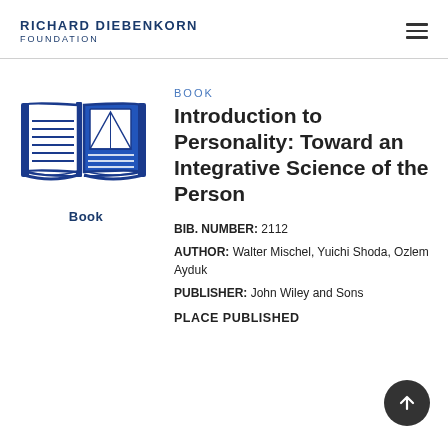RICHARD DIEBENKORN FOUNDATION
[Figure (illustration): Blue open book icon illustration]
Book
BOOK
Introduction to Personality: Toward an Integrative Science of the Person
BIB. NUMBER: 2112
AUTHOR: Walter Mischel, Yuichi Shoda, Ozlem Ayduk
PUBLISHER: John Wiley and Sons
PLACE PUBLISHED